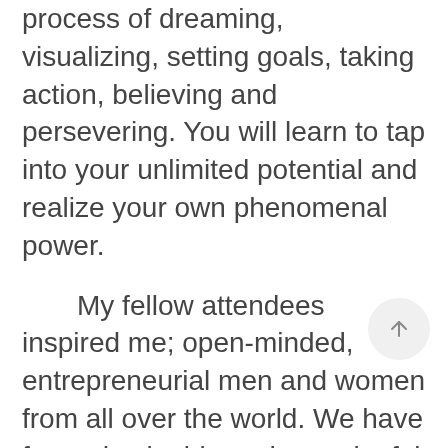process of dreaming, visualizing, setting goals, taking action, believing and persevering. You will learn to tap into your unlimited potential and realize your own phenomenal power.
My fellow attendees inspired me; open-minded, entrepreneurial men and women from all over the world. We have formed valuable and meaningful bonds.
My goal is set. I am feeling